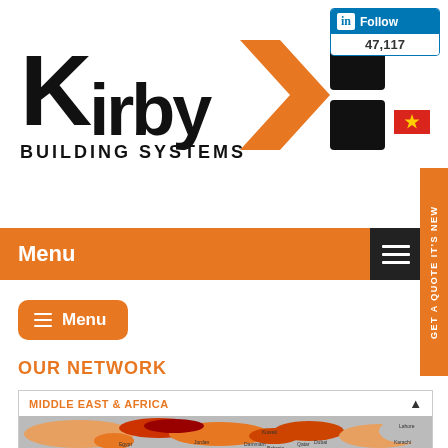[Figure (logo): Kirby Building Systems logo with orange and black K graphic]
[Figure (infographic): LinkedIn Follow badge showing 47,117 followers]
[Figure (illustration): Vietnam flag (red with yellow star)]
GET A QUOTE IT'S NEW
Menu
Menu
OUR NETWORK
MIDDLE EAST & AFRICA
[Figure (map): Map of Middle East and Africa region showing locations including Jordan, Kuwait, Dammam, Bahrain, Qatar, Dubai, Lahore, Egypt, Karachi]